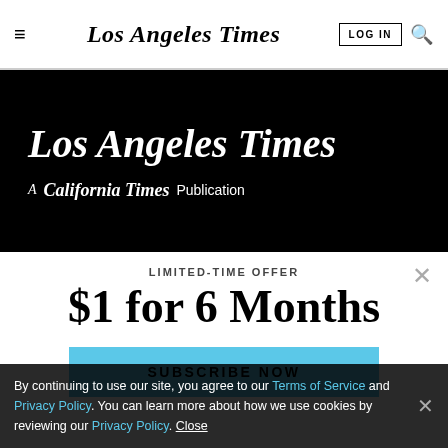Los Angeles Times
[Figure (logo): Los Angeles Times black banner with masthead logo and 'A California Times Publication' subtitle]
LIMITED-TIME OFFER
$1 for 6 Months
SUBSCRIBE NOW
By continuing to use our site, you agree to our Terms of Service and Privacy Policy. You can learn more about how we use cookies by reviewing our Privacy Policy. Close